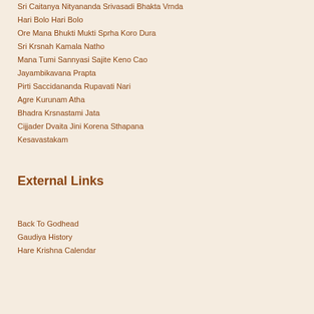Sri Caitanya Nityananda Srivasadi Bhakta Vrnda
Hari Bolo Hari Bolo
Ore Mana Bhukti Mukti Sprha Koro Dura
Sri Krsnah Kamala Natho
Mana Tumi Sannyasi Sajite Keno Cao
Jayambikavana Prapta
Pirti Saccidananda Rupavati Nari
Agre Kurunam Atha
Bhadra Krsnastami Jata
Cijjader Dvaita Jini Korena Sthapana
Kesavastakam
External Links
Back To Godhead
Gaudiya History
Hare Krishna Calendar